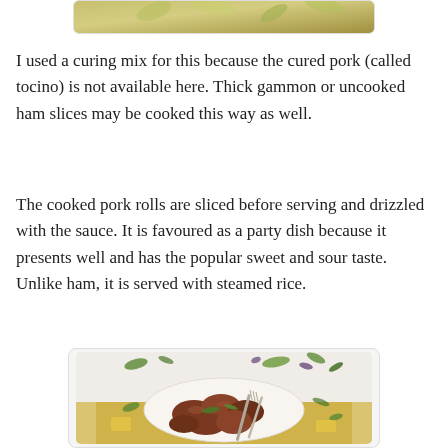[Figure (photo): Partial top of a food photo showing a decorative yellow/green patterned background, cropped at the top of the page]
I used a curing mix for this because the cured pork (called tocino) is not available here. Thick gammon or uncooked ham slices may be cooked this way as well.
The cooked pork rolls are sliced before serving and drizzled with the sauce. It is favoured as a party dish because it presents well and has the popular sweet and sour taste. Unlike ham, it is served with steamed rice.
[Figure (photo): A plate of cooked pork rolls (tocino-style), sliced and garnished with fresh herbs/parsley, served on a yellow woven mat with a fork and knife, with green herbs scattered around the plate on a light background]